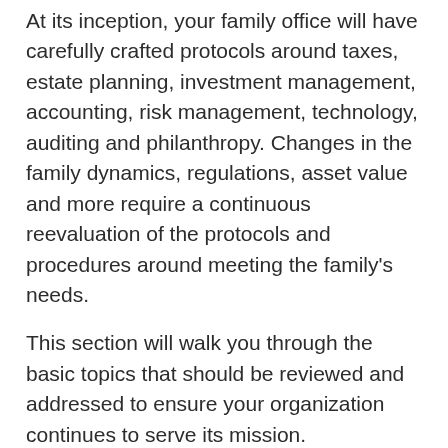At its inception, your family office will have carefully crafted protocols around taxes, estate planning, investment management, accounting, risk management, technology, auditing and philanthropy. Changes in the family dynamics, regulations, asset value and more require a continuous reevaluation of the protocols and procedures around meeting the family's needs.
This section will walk you through the basic topics that should be reviewed and addressed to ensure your organization continues to serve its mission.
Family Office Legal Mechanisms
Family Office Tax Strategy
Estate Planning
Investment Management